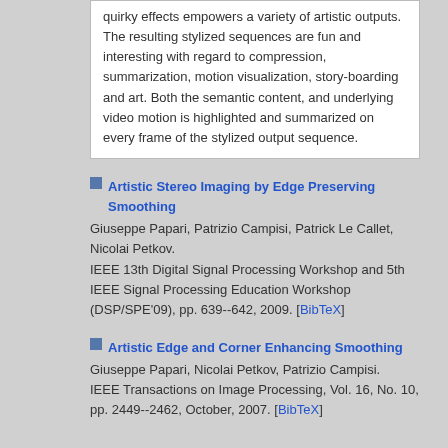quirky effects empowers a variety of artistic outputs. The resulting stylized sequences are fun and interesting with regard to compression, summarization, motion visualization, story-boarding and art. Both the semantic content, and underlying video motion is highlighted and summarized on every frame of the stylized output sequence.
Artistic Stereo Imaging by Edge Preserving Smoothing
Giuseppe Papari, Patrizio Campisi, Patrick Le Callet, Nicolai Petkov. IEEE 13th Digital Signal Processing Workshop and 5th IEEE Signal Processing Education Workshop (DSP/SPE'09), pp. 639--642, 2009. [BibTeX]
Artistic Edge and Corner Enhancing Smoothing
Giuseppe Papari, Nicolai Petkov, Patrizio Campisi. IEEE Transactions on Image Processing, Vol. 16, No. 10, pp. 2449--2462, October, 2007. [BibTeX]
Visitors: 158251